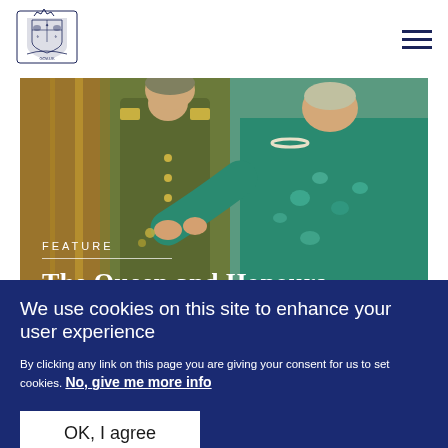[Figure (logo): UK Government Royal Coat of Arms logo in blue]
[Figure (photo): A person in military uniform receiving a medal or honour from a woman in a teal/blue floral dress, photographed indoors]
FEATURE
The Queen and Honours
We use cookies on this site to enhance your user experience
By clicking any link on this page you are giving your consent for us to set cookies. No, give me more info
OK, I agree